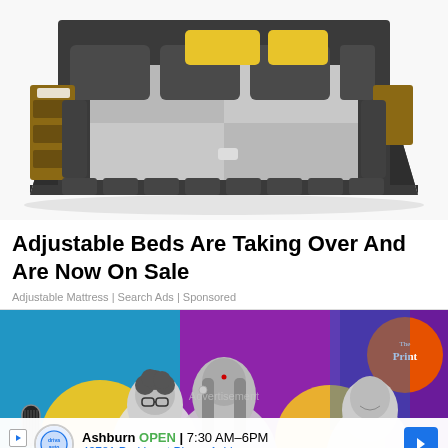[Figure (photo): Product photo of a modern adjustable bed with dark gray upholstered frame, built-in shelves on sides, yellow accent pillow, and gray/white checkered bedding, on white background]
Adjustable Beds Are Taking Over And Are Now On Sale
Adjustable Mattress | Search Ads | Sponsored
[Figure (photo): Advertisement banner for The Print media showing colorful graphic design with blue, purple, yellow, and orange geometric shapes and black and white photos of young people including a woman center, a man with glasses lower left, and a man lower right. The Print logo in orange circle top right. Microphone graphic bottom left. Overlaid at bottom: business listing for 'driva auto' in Ashburn showing OPEN 7:30AM-6PM and address 43781 Parkhurst Plaza, Ashburn with blue navigation arrow icon.]